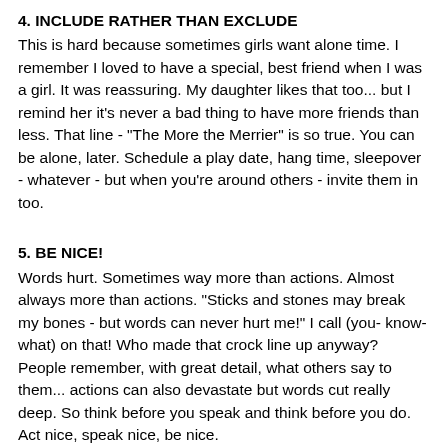4. INCLUDE RATHER THAN EXCLUDE
This is hard because sometimes girls want alone time.  I remember I loved to have a special, best friend when I was a girl.  It was reassuring.  My daughter likes that too... but I remind her it's never a bad thing to have more friends than less.  That line - "The More the Merrier" is so true.  You can be alone, later.  Schedule a play date, hang time, sleepover - whatever - but when you're around others - invite them in too.
5. BE NICE!
Words hurt.  Sometimes way more than actions.  Almost always more than actions.  "Sticks and stones may break my bones - but words can never hurt me!"  I call (you- know-what) on that! Who made that crock line up anyway?  People remember, with great detail, what others say to them... actions can also devastate but words cut really deep. So think before you speak and think before you do.  Act nice, speak nice, be nice.
Finally, Tell people